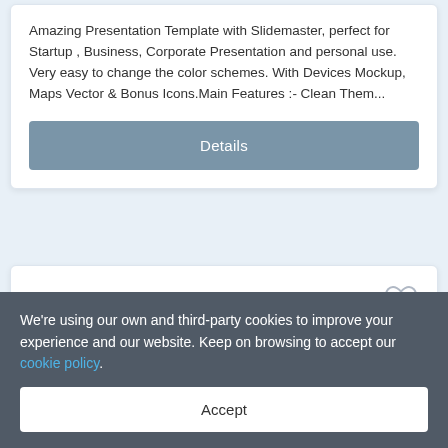Amazing Presentation Template with Slidemaster, perfect for Startup , Business, Corporate Presentation and personal use. Very easy to change the color schemes. With Devices Mockup, Maps Vector & Bonus Icons.Main Features :- Clean Them...
Details
[Figure (other): Heart/favorite icon outline in the second card]
We're using our own and third-party cookies to improve your experience and our website. Keep on browsing to accept our cookie policy.
Accept